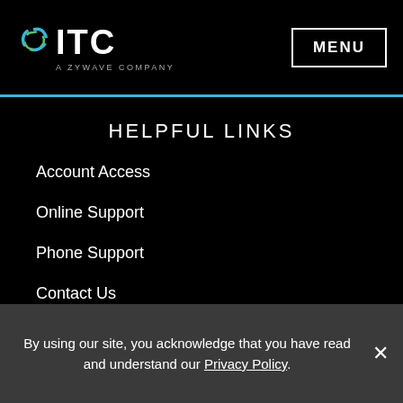ITC — A ZYWAVE COMPANY | MENU
HELPFUL LINKS
Account Access
Online Support
Phone Support
Contact Us
CONNECT WITH ITC
[Figure (other): Row of five white social media icon circles]
By using our site, you acknowledge that you have read and understand our Privacy Policy.